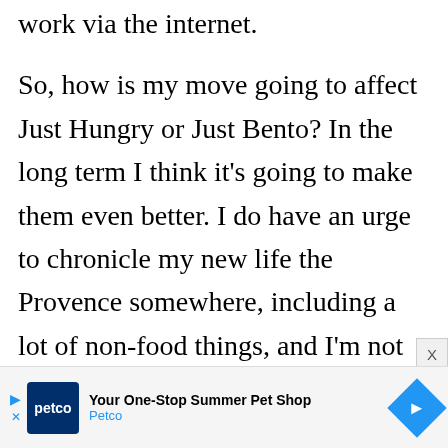work via the internet.
So, how is my move going to affect Just Hungry or Just Bento? In the long term I think it's going to make them even better. I do have an urge to chronicle my new life the Provence somewhere, including a lot of non-food things, and I'm not sure yet if I should do it here or set up a new blog for that purpose. But just in
[Figure (other): Petco advertisement banner: 'Your One-Stop Summer Pet Shop' with Petco logo and arrow icon]